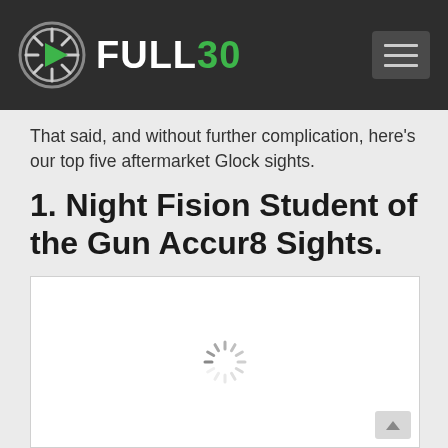FULL30
That said, and without further complication, here's our top five aftermarket Glock sights.
1. Night Fision Student of the Gun Accur8 Sights.
[Figure (other): White loading placeholder box with a spinner icon in the center, representing a loading video or image embed. A scroll-up button is visible in the bottom right corner.]